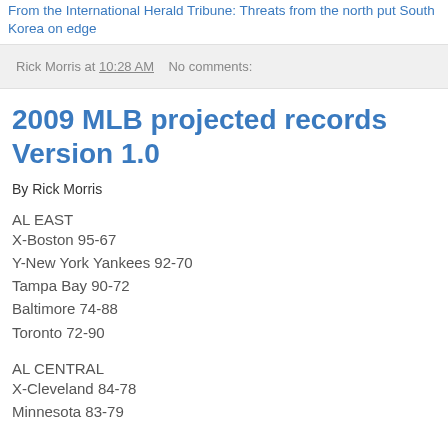From the International Herald Tribune: Threats from the north put South Korea on edge
Rick Morris at 10:28 AM   No comments:
2009 MLB projected records Version 1.0
By Rick Morris
AL EAST
X-Boston 95-67
Y-New York Yankees 92-70
Tampa Bay 90-72
Baltimore 74-88
Toronto 72-90
AL CENTRAL
X-Cleveland 84-78
Minnesota 83-79